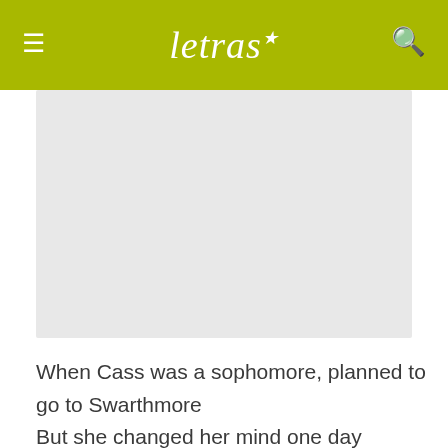letras
[Figure (other): Advertisement banner placeholder, light gray rectangle]
When Cass was a sophomore, planned to go to Swarthmore
But she changed her mind one day
Standin' on the turnpike, thumb out to hitchhike
Take me to New York right away
When Denny met Cass he gave her love bumps
Called John and Zol and that was the Mugwumps
McGuinn and McGuire couldn't get no higher
But that's what they were aimin' at